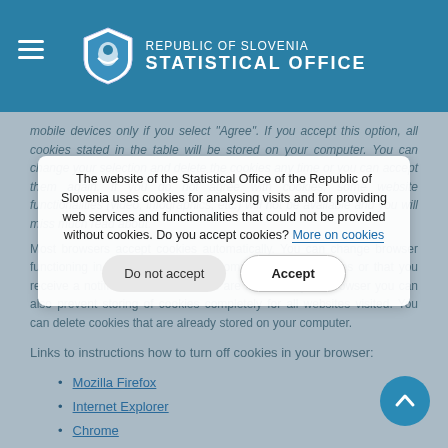REPUBLIC OF SLOVENIA STATISTICAL OFFICE
mobile devices only if you select "Agree". If you accept this option, all cookies stated in the table will be stored on your computer. You can change your selection and delete the cookies any time or you can accept them again. If you do not agree with cookies, some website functionalities (video, infographics, etc.) will not be available and you will miss much read about.
Most browsers accept cookies automatically. You can change browser functioning in settings so that the computer rejects cookies or that you receive a notification when cookies are stored. In your browser you can also prevent storing of cookies completely for all websites visited. You can delete cookies that are already stored on your computer.
Links to instructions how to turn off cookies in your browser:
Mozilla Firefox
Internet Explorer
Chrome
Safari
Edge
Information on the use of cookies in browsers of mobile phones
The website of the Statistical Office of the Republic of Slovenia uses cookies for analysing visits and for providing web services and functionalities that could not be provided without cookies. Do you accept cookies? More on cookies